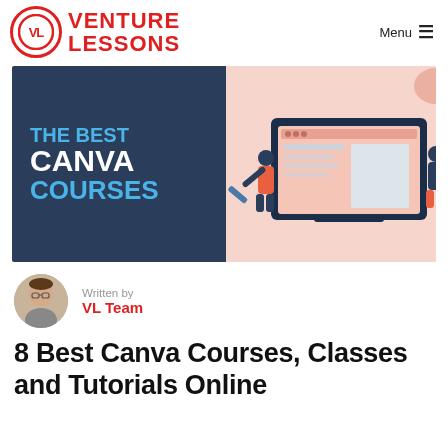VL VENTURE LESSONS  Menu ☰
[Figure (illustration): Hero banner for article about best Canva courses. Left side: dark blue panel with text 'THE BEST CANVA COURSES' in white and blue. Right side: pink/coral illustration of people working around a large computer monitor with design elements.]
Written by
VL Team
8 Best Canva Courses, Classes and Tutorials Online